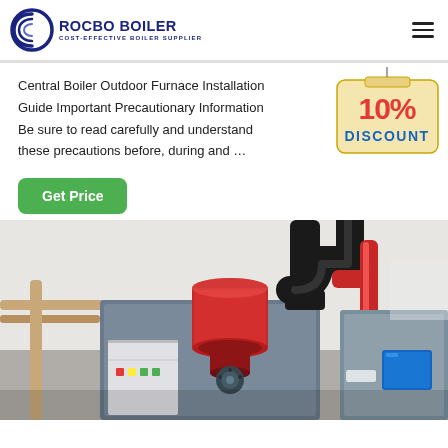[Figure (logo): Rocbo Boiler logo with circular icon and text 'ROCBO BOILER / COST-EFFECTIVE BOILER SUPPLIER']
Central Boiler Outdoor Furnace Installation Guide Important Precautionary Information Be sure to read carefully and understand these precautions before, during and …
[Figure (infographic): 10% DISCOUNT badge hanging sign in red and blue text on a beige background]
[Figure (photo): Industrial boiler equipment with red cylindrical burner component, black pipes, and grey control cabinet in a white indoor facility]
[Figure (other): Green 'Get Price' button]